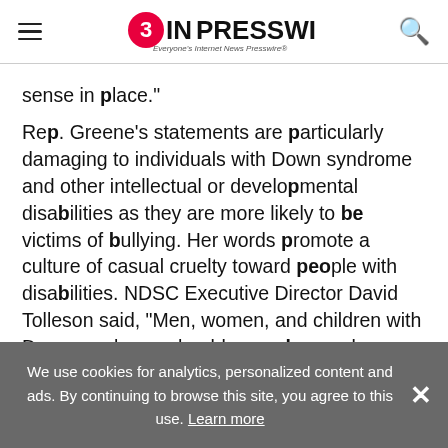EIN PRESSWIRE — Everyone's Internet News Presswire
sense in place."
Rep. Greene's statements are particularly damaging to individuals with Down syndrome and other intellectual or developmental disabilities as they are more likely to be victims of bullying. Her words promote a culture of casual cruelty toward people with disabilities. NDSC Executive Director David Tolleson said, "Men, women, and children with Down syndrome should never be used as a
We use cookies for analytics, personalized content and ads. By continuing to browse this site, you agree to this use. Learn more